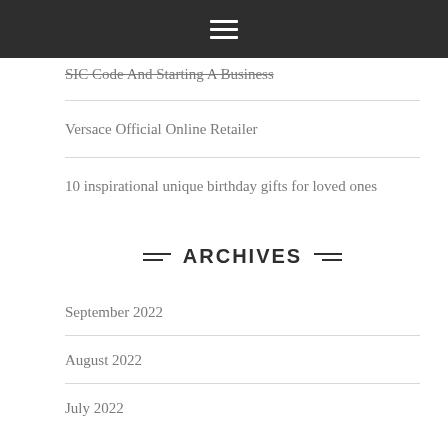☰
SIC Code And Starting A Business
Versace Official Online Retailer
10 inspirational unique birthday gifts for loved ones
ARCHIVES
September 2022
August 2022
July 2022